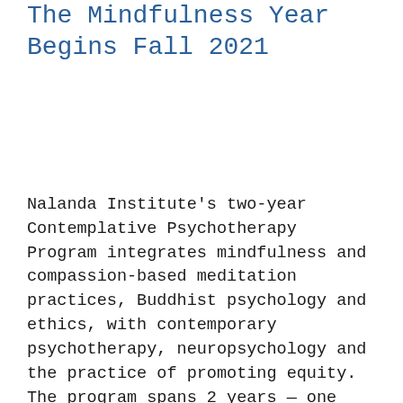The Mindfulness Year Begins Fall 2021
Nalanda Institute's two-year Contemplative Psychotherapy Program integrates mindfulness and compassion-based meditation practices, Buddhist psychology and ethics, with contemporary psychotherapy, neuropsychology and the practice of promoting equity. The program spans 2 years — one devoted to Compassion and the other to Mindfulness. Students may start in either year. This fall marks the